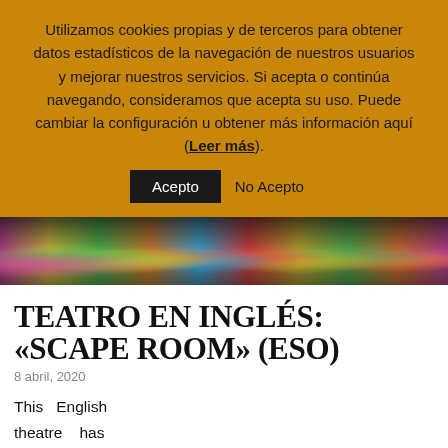Utilizamos cookies propias y de terceros para obtener datos estadísticos de la navegación de nuestros usuarios y mejorar nuestros servicios. Si acepta o continúa navegando, consideramos que acepta su uso. Puede cambiar la configuración u obtener más información aquí (Leer más).
Acepto  No Acepto
[Figure (photo): A colorful photo of children in bright costumes performing on a stage, theater performance backdrop.]
TEATRO EN INGLÉS: «SCAPE ROOM» (ESO)
8 abril, 2020
This English theatre has fascinated us because we have